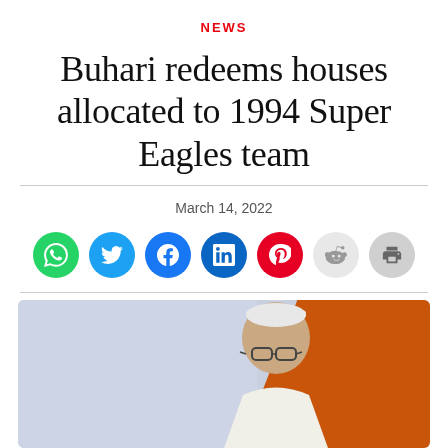NEWS
Buhari redeems houses allocated to 1994 Super Eagles team
March 14, 2022
[Figure (infographic): Social media share buttons: WhatsApp (green), Twitter (light blue), Facebook (dark blue), LinkedIn (dark teal), Pinterest (red), Reddit (light gray), Print (gray)]
[Figure (photo): Photo of President Buhari wearing white attire and glasses, with a blue-gray background on left and orange/brown diagonal on right]